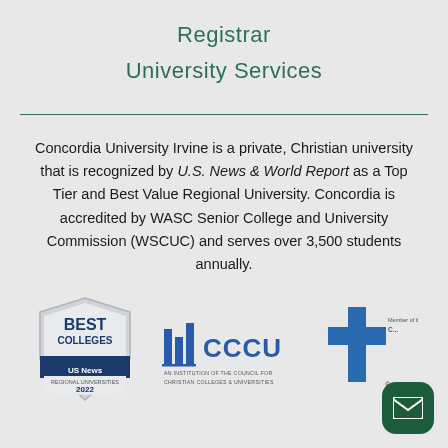Registrar
University Services
Concordia University Irvine is a private, Christian university that is recognized by U.S. News & World Report as a Top Tier and Best Value Regional University. Concordia is accredited by WASC Senior College and University Commission (WSCUC) and serves over 3,500 students annually.
[Figure (logo): U.S. News Best Colleges 2022 Regional Universities badge]
[Figure (logo): CCCU - An Institution of the Council for Christian Colleges & Universities logo]
[Figure (logo): Member of the LCMS cross logo (partially visible)]
[Figure (other): Email contact button (dark green rounded square with envelope icon)]